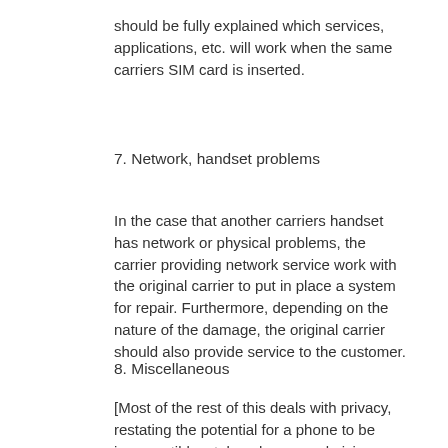should be fully explained which services, applications, etc. will work when the same carriers SIM card is inserted.
7. Network, handset problems
In the case that another carriers handset has network or physical problems, the carrier providing network service work with the original carrier to put in place a system for repair. Furthermore, depending on the nature of the damage, the original carrier should also provide service to the customer.
8. Miscellaneous
[Most of the rest of this deals with privacy, restating the potential for a phone to be incompatible, stolen phones and giving another look at problems faced by carriers, the evaluations from customers, incompatibilities in services, applications, etc.]